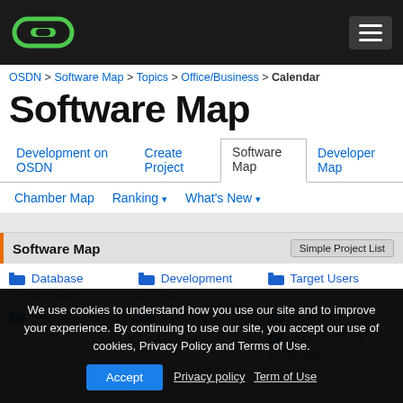OSDN — Software Map header navigation bar with logo and hamburger menu
OSDN > Software Map > Topics > Office/Business > Calendar
Software Map
Development on OSDN
Create Project
Software Map (active)
Developer Map
Chamber Map
Ranking ▾
What's New ▾
Software Map
📁 Database Environment
📁 Development Status
📁 Target Users
📁 Natural Language
📁 Operating System
📁 License
📁 Programming Language
We use cookies to understand how you use our site and to improve your experience. By continuing to use our site, you accept our use of cookies, Privacy Policy and Terms of Use.
Accept   Privacy policy   Term of Use